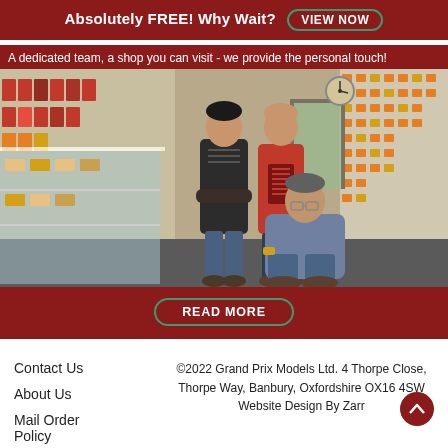Absolutely FREE! Why Wait? VIEW NOW
A dedicated team, a shop you can visit - we provide the personal touch!
[Figure (photo): Three men standing and sitting inside a model car shop, surrounded by shelves with model cars and parts on both sides.]
READ MORE
Contact Us
About Us
Mail Order Policy
©2022 Grand Prix Models Ltd. 4 Thorpe Close, Thorpe Way, Banbury, Oxfordshire OX16 4SW Website Design By Zarr